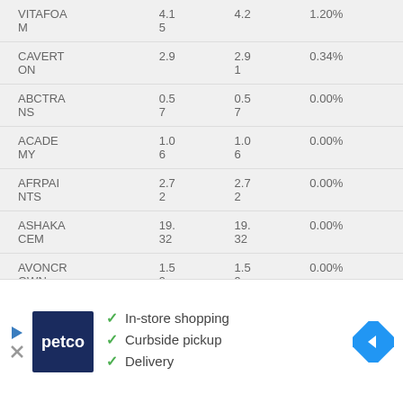|  |  |  |  |
| --- | --- | --- | --- |
| VITAFOAM | 4.15 | 4.2 | 1.20% |
| CAVERTON | 2.9 | 2.91 | 0.34% |
| ABCTRANS | 0.57 | 0.57 | 0.00% |
| ACADEMY | 1.06 | 1.06 | 0.00% |
| AFRPAINTS | 2.72 | 2.72 | 0.00% |
| ASHAKACEMENT | 19.32 | 19.32 | 0.00% |
| AVONCROWN | 1.59 | 1.59 | 0.00% |
| BOCGA | 5.2 | 5.2 | 0.00% |
[Figure (infographic): Petco advertisement banner showing logo, checkmark list (In-store shopping, Curbside pickup, Delivery), and navigation arrow icon]